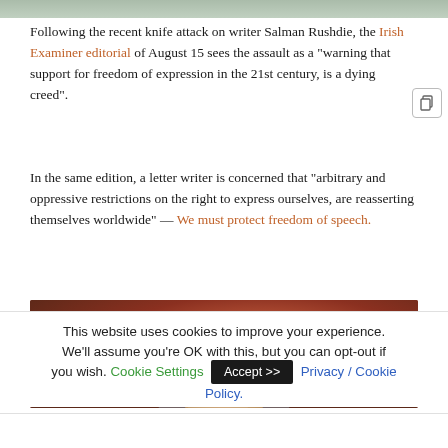[Figure (photo): Partial top image strip, cropped photo background greenish]
Following the recent knife attack on writer Salman Rushdie, the Irish Examiner editorial of August 15 sees the assault as a "warning that support for freedom of expression in the 21st century, is a dying creed".
In the same edition, a letter writer is concerned that "arbitrary and oppressive restrictions on the right to express ourselves, are reasserting themselves worldwide" — We must protect freedom of speech.
[Figure (photo): Close-up photo of a man with glasses and greying hair against a reddish-brown background, partially visible from forehead to eyes]
This website uses cookies to improve your experience. We'll assume you're OK with this, but you can opt-out if you wish. Cookie Settings Accept >> Privacy / Cookie Policy.